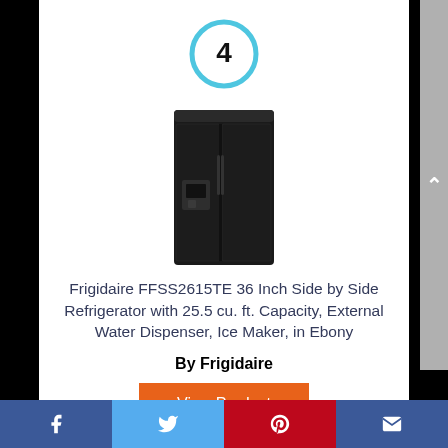[Figure (other): Blue circle with number 4 inside, indicating list rank]
[Figure (photo): Black Frigidaire FFSS2615TE side-by-side refrigerator product photo]
Frigidaire FFSS2615TE 36 Inch Side by Side Refrigerator with 25.5 cu. ft. Capacity, External Water Dispenser, Ice Maker, in Ebony
By Frigidaire
View Product